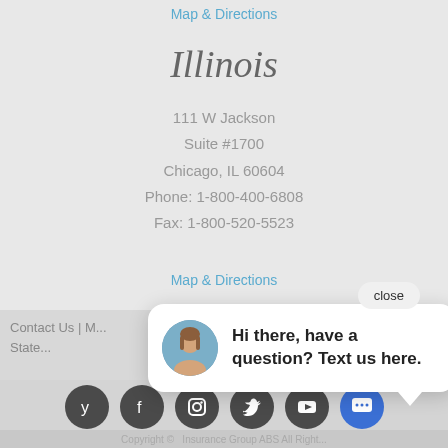Map & Directions
Illinois
111 W Jackson
Suite #1700
Chicago, IL 60604
Phone: 1-800-400-6808
Fax: 1-800-520-5523
Map & Directions
Contact Us | ... State...
[Figure (screenshot): Chat popup with avatar and message: Hi there, have a question? Text us here.]
Hi there, have a question? Text us here.
[Figure (infographic): Social media icons row: Yelp, Facebook, Instagram, Twitter, YouTube, Chat (blue)]
Copyright © ... Insurance Group ABS All Right...